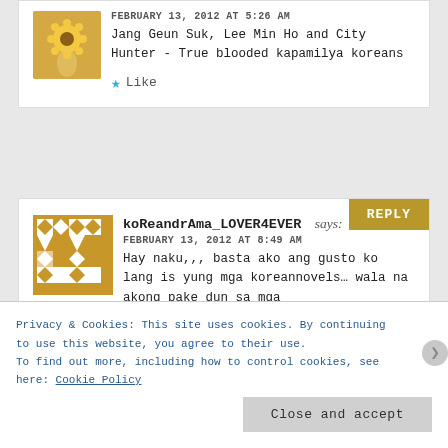[Figure (photo): Avatar photo of a person among sunflowers]
FEBRUARY 13, 2012 AT 5:26 AM
Jang Geun Suk, Lee Min Ho and City Hunter - True blooded kapamilya koreans
Like
[Figure (illustration): Geometric patterned avatar icon in brown/gold tones]
koReandrAma_LOVER4EVER says:
FEBRUARY 13, 2012 AT 8:49 AM
Hay naku,,, basta ako ang gusto ko lang is yung mga koreannovels… wala na akong pake dun sa mga
Privacy & Cookies: This site uses cookies. By continuing to use this website, you agree to their use. To find out more, including how to control cookies, see here: Cookie Policy
Close and accept